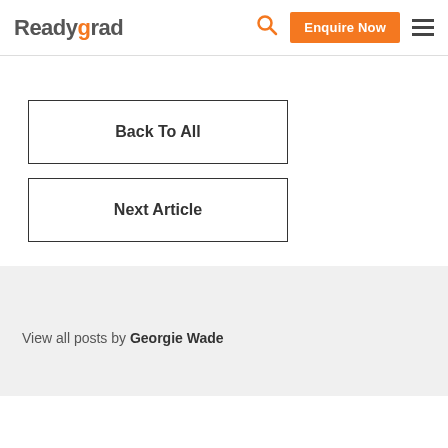Readygrad | Enquire Now
Back To All
Next Article
About Author
View all posts by Georgie Wade